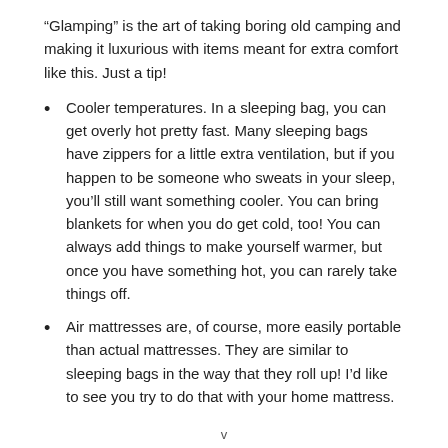“Glamping” is the art of taking boring old camping and making it luxurious with items meant for extra comfort like this. Just a tip!
Cooler temperatures. In a sleeping bag, you can get overly hot pretty fast. Many sleeping bags have zippers for a little extra ventilation, but if you happen to be someone who sweats in your sleep, you’ll still want something cooler. You can bring blankets for when you do get cold, too! You can always add things to make yourself warmer, but once you have something hot, you can rarely take things off.
Air mattresses are, of course, more easily portable than actual mattresses. They are similar to sleeping bags in the way that they roll up! I’d like to see you try to do that with your home mattress.
v